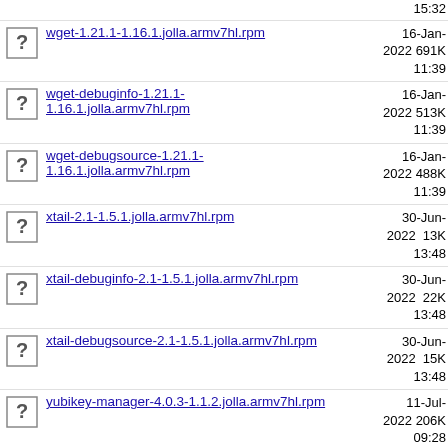wget-1.21.1-1.16.1.jolla.armv7hl.rpm  16-Jan-2022 691K 11:39
wget-debuginfo-1.21.1-1.16.1.jolla.armv7hl.rpm  16-Jan-2022 513K 11:39
wget-debugsource-1.21.1-1.16.1.jolla.armv7hl.rpm  16-Jan-2022 488K 11:39
xtail-2.1-1.5.1.jolla.armv7hl.rpm  30-Jun-2022 13K 13:48
xtail-debuginfo-2.1-1.5.1.jolla.armv7hl.rpm  30-Jun-2022 22K 13:48
xtail-debugsource-2.1-1.5.1.jolla.armv7hl.rpm  30-Jun-2022 15K 13:48
yubikey-manager-4.0.3-1.1.2.jolla.armv7hl.rpm  11-Jul-2022 206K 09:28
yubikey-manager-debuginfo-4.0.3-1.1.2.jolla.armv7hl...  11-Jul-2022 6.4K